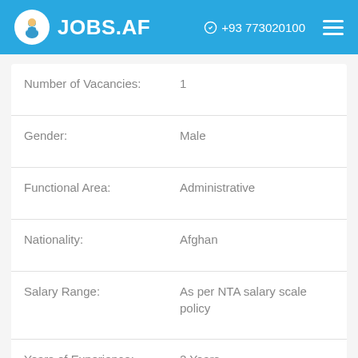JOBS.AF  +93 773020100
| Field | Value |
| --- | --- |
| Number of Vacancies: | 1 |
| Gender: | Male |
| Functional Area: | Administrative |
| Nationality: | Afghan |
| Salary Range: | As per NTA salary scale policy |
| Years of Experience: | 2 Years |
| Contract Duration: | Not specified |
| Possibility of Contract Extension: | Yes |